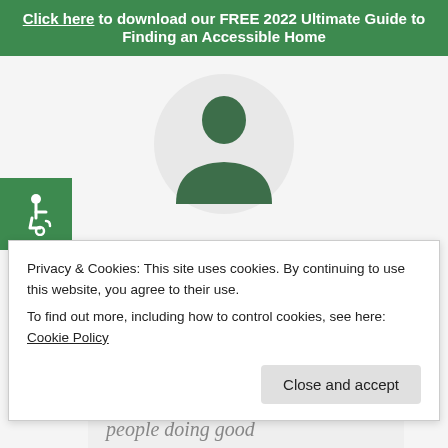Click here to download our FREE 2022 Ultimate Guide to Finding an Accessible Home
[Figure (illustration): Circular avatar with a dark green silhouette of a person on a light gray background]
[Figure (logo): Green square badge with white wheelchair accessibility icon]
Easy going. Friendly. And absolutely on the ball.
Privacy & Cookies: This site uses cookies. By continuing to use this website, you agree to their use.
To find out more, including how to control cookies, see here: Cookie Policy
Close and accept
people doing good